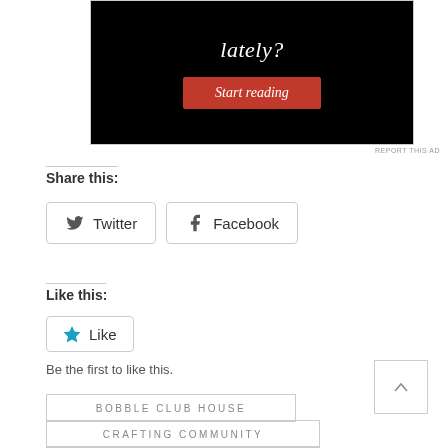[Figure (screenshot): Black background ad image with italic white text 'lately?' and a red 'Start reading' button]
REPORT THIS AD
Share this:
Twitter
Facebook
Like this:
Like
Be the first to like this.
BOBBLE CLUB HOUSE
CRAFTING COMMUNITY
CRAFTINGHOROSCOPE